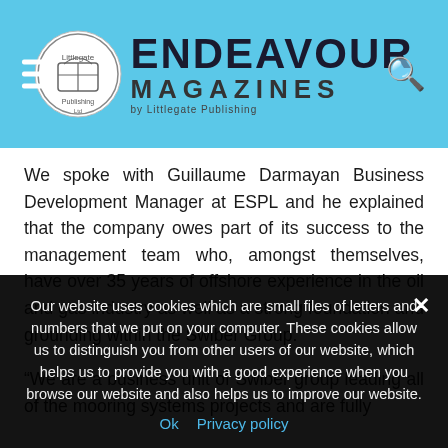Endeavour Magazines by Littlegate Publishing
We spoke with Guillaume Darmayan Business Development Manager at ESPL and he explained that the company owes part of its success to the management team who, amongst themselves, have over 35 years of offshore experience in the oil and gas industry as well as a strong foundation and grounding within the Swiber Group.
“We are a business unit of Swiber group leading all of the mooring systems projects and are fully
Our website uses cookies which are small files of letters and numbers that we put on your computer. These cookies allow us to distinguish you from other users of our website, which helps us to provide you with a good experience when you browse our website and also helps us to improve our website.
Ok   Privacy policy